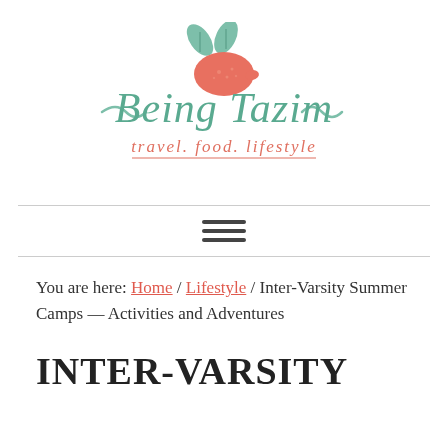[Figure (logo): Being Tazim logo with lemon and leaves illustration, script text 'Being Tazim' in teal, subtitle 'travel. food. lifestyle' in coral/salmon color with underline]
You are here: Home / Lifestyle / Inter-Varsity Summer Camps — Activities and Adventures
INTER-VARSITY